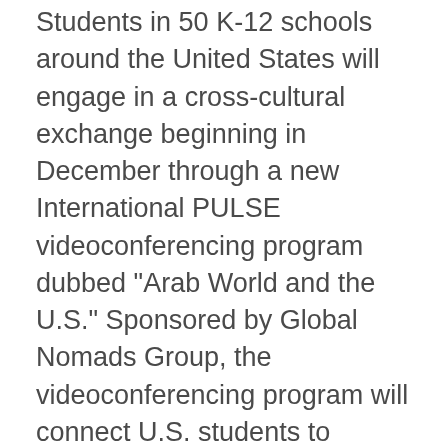Students in 50 K-12 schools around the United States will engage in a cross-cultural exchange beginning in December through a new International PULSE videoconferencing program dubbed "Arab World and the U.S." Sponsored by Global Nomads Group, the videoconferencing program will connect U.S. students to schools in Cairo, Egypt to engage in collaborative activities and exchange cultural perspectives.
"Reversing some of the misconceptions that have accumulated among America's youth since 9/11 requires face-to-face interaction with students of the same age in the Arab world," said Chris Plutte, co-founder of Global Nomads Group, in a statement released this week. "A common misconception is that all Arabs are Muslim, and